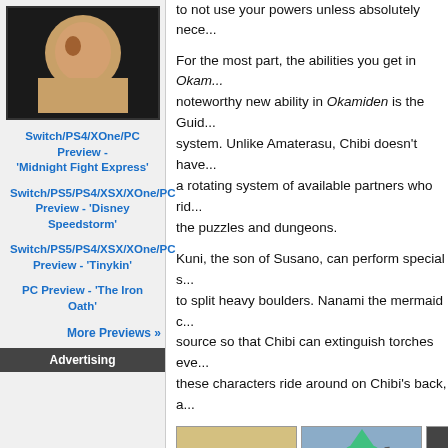[Figure (photo): Thumbnail image of a person holding a football]
Switch/PS4/XOne/PC Preview - 'Midnight Fight Express'
Switch/PS5/PS4/XSX/XOne/PC Preview - 'Disney Speedstorm'
Switch/PS5/PS4/XSX/XOne/PC Preview - 'Tinykin'
PC Preview - 'The Iron Oath'
More Previews »
Advertising
to not use your powers unless absolutely nece...
For the most part, the abilities you get in Okamiden... noteworthy new ability in Okamiden is the Guid... system. Unlike Amaterasu, Chibi doesn't have... a rotating system of available partners who rid... the puzzles and dungeons.
Kuni, the son of Susano, can perform special s... to split heavy boulders. Nanami the mermaid c... source so that Chibi can extinguish torches eve... these characters ride around on Chibi's back, a...
[Figure (photo): Chibi (Okamiden wolf cub character) carrying a large arrow]
[Figure (photo): A character in yellow and orange armor with a weapon]
[Figure (photo): Two stacked screenshots showing gameplay scenes]
Sometimes you'll have to split up the two part...